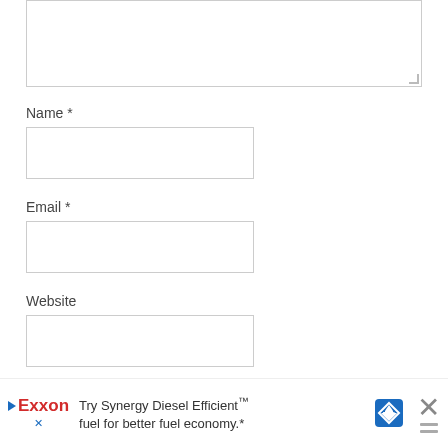[Figure (screenshot): A textarea form field (empty, with resize handle at bottom-right)]
Name *
[Figure (screenshot): An empty text input field for Name]
Email *
[Figure (screenshot): An empty text input field for Email]
Website
[Figure (screenshot): An empty text input field for Website]
[Figure (screenshot): Advertisement banner: Exxon logo, text 'Try Synergy Diesel Efficient™ fuel for better fuel economy.*', blue road sign icon, and close button with X]